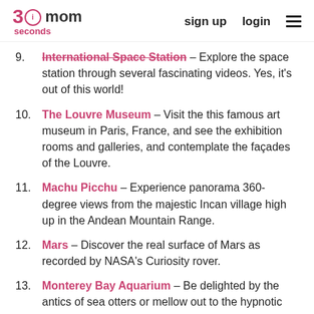30seconds mom | sign up | login
9. International Space Station – Explore the space station through several fascinating videos. Yes, it's out of this world!
10. The Louvre Museum – Visit the this famous art museum in Paris, France, and see the exhibition rooms and galleries, and contemplate the façades of the Louvre.
11. Machu Picchu – Experience panorama 360-degree views from the majestic Incan village high up in the Andean Mountain Range.
12. Mars – Discover the real surface of Mars as recorded by NASA's Curiosity rover.
13. Monterey Bay Aquarium – Be delighted by the antics of sea otters or mellow out to the hypnotic